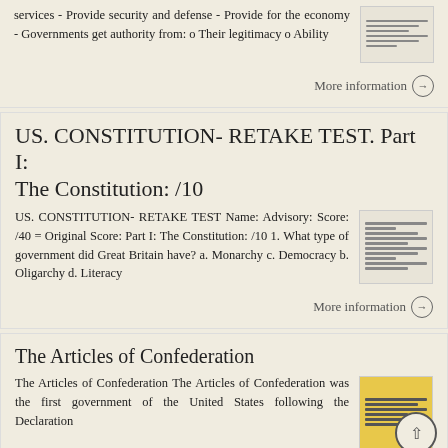services - Provide security and defense - Provide for the economy - Governments get authority from: o Their legitimacy o Ability
More information →
US. CONSTITUTION- RETAKE TEST. Part I: The Constitution: /10
US. CONSTITUTION- RETAKE TEST Name: Advisory: Score: /40 = Original Score: Part I: The Constitution: /10 1. What type of government did Great Britain have? a. Monarchy c. Democracy b. Oligarchy d. Literacy
More information →
The Articles of Confederation
The Articles of Confederation The Articles of Confederation was the first government of the United States following the Declaration